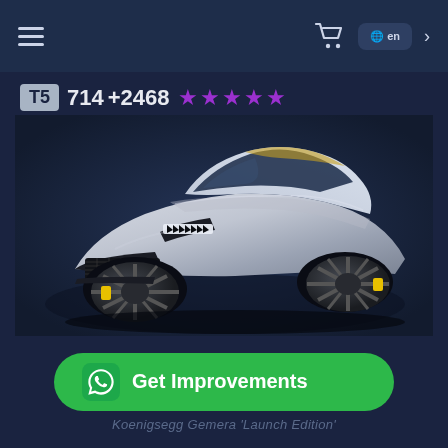Navigation bar with hamburger menu, cart icon, language button, chevron
T5  714  +2468  ★★★★★
[Figure (photo): Koenigsegg Gemera Launch Edition supercar in light grey/silver color with black wheels and yellow brake calipers, front-right three-quarter view on dark blue background]
Get Improvements
Koenigsegg Gemera 'Launch Edition'